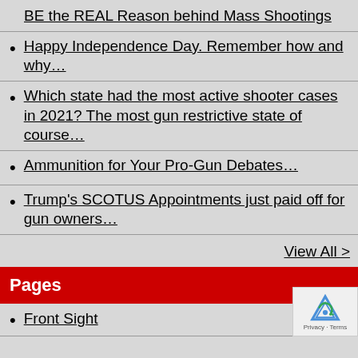BE the REAL Reason behind Mass Shootings
Happy Independence Day. Remember how and why…
Which state had the most active shooter cases in 2021? The most gun restrictive state of course…
Ammunition for Your Pro-Gun Debates…
Trump's SCOTUS Appointments just paid off for gun owners…
View All >
Pages
Front Sight